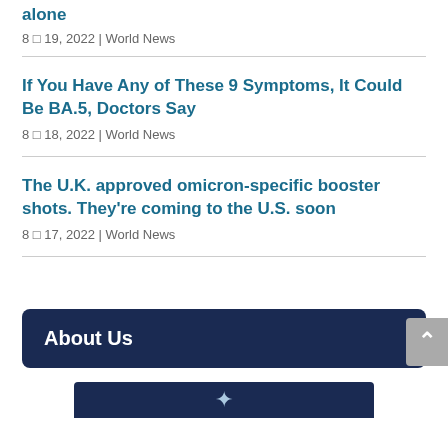alone
8 월 19, 2022 | World News
If You Have Any of These 9 Symptoms, It Could Be BA.5, Doctors Say
8 월 18, 2022 | World News
The U.K. approved omicron-specific booster shots. They're coming to the U.S. soon
8 월 17, 2022 | World News
About Us